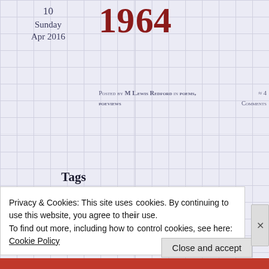10
Sunday
Apr 2016
1964
Posted by M Lewis Redford in poems, poeviews
≈ 4 Comments
Tags
1960s, 1964, 2014, angel, archetypes, beauty, Burt
1964
Privacy & Cookies: This site uses cookies. By continuing to use this website, you agree to their use.
To find out more, including how to control cookies, see here: Cookie Policy
Close and accept